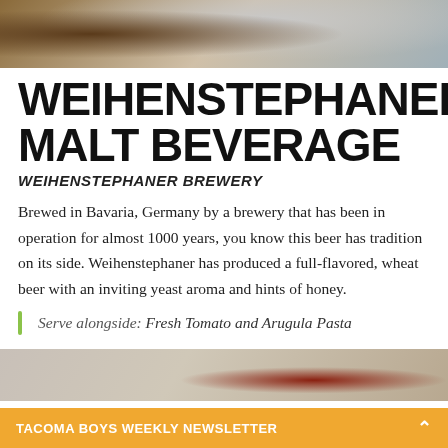[Figure (photo): Top photo showing a brown beer bottle against ice/blurred background]
WEIHENSTEPHANER MALT BEVERAGE
WEIHENSTEPHANER BREWERY
Brewed in Bavaria, Germany by a brewery that has been in operation for almost 1000 years, you know this beer has tradition on its side. Weihenstephaner has produced a full-flavored, wheat beer with an inviting yeast aroma and hints of honey.
Serve alongside: Fresh Tomato and Arugula Pasta
[Figure (photo): Bottom photo showing food or beverage items on a surface]
TACOMA BOYS WEEKLY NEWSLETTER